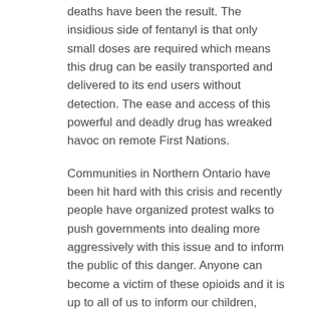deaths have been the result. The insidious side of fentanyl is that only small doses are required which means this drug can be easily transported and delivered to its end users without detection. The ease and access of this powerful and deadly drug has wreaked havoc on remote First Nations.
Communities in Northern Ontario have been hit hard with this crisis and recently people have organized protest walks to push governments into dealing more aggressively with this issue and to inform the public of this danger. Anyone can become a victim of these opioids and it is up to all of us to inform our children, friends and neighbours of the danger lurking right around the corner or at the next party.
www.underthenorthernsky.com
Featured In Slider: no
Date Published: